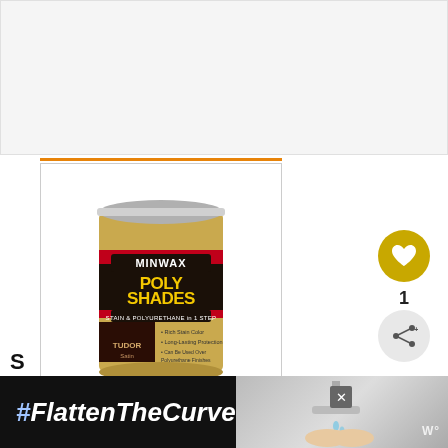[Figure (photo): Top gray placeholder image area]
[Figure (photo): Minwax PolyShades Tudor Satin stain and polyurethane in 1 step product can, with black label, red stripe, yellow brand name, showing Rich Stain Color, Long-Lasting Protection, Can Be Used Over Polyurethane Finishes bullet points]
[Figure (illustration): Golden circular heart/like button with heart icon, count of 1, and share button below]
WHAT'S NEXT → How To Darken Oak...
#FlattenTheCurve
S